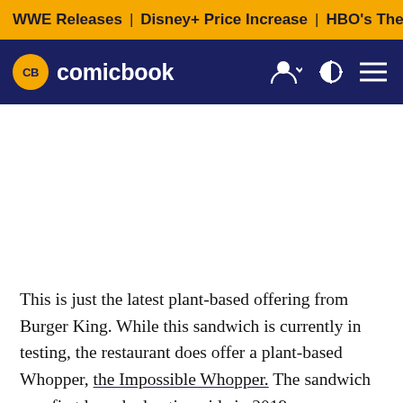WWE Releases | Disney+ Price Increase | HBO's The Last of U
CB comicbook
[Figure (other): Advertisement placeholder area (white space)]
This is just the latest plant-based offering from Burger King. While this sandwich is currently in testing, the restaurant does offer a plant-based Whopper, the Impossible Whopper. The sandwich was first launched nationwide in 2019.